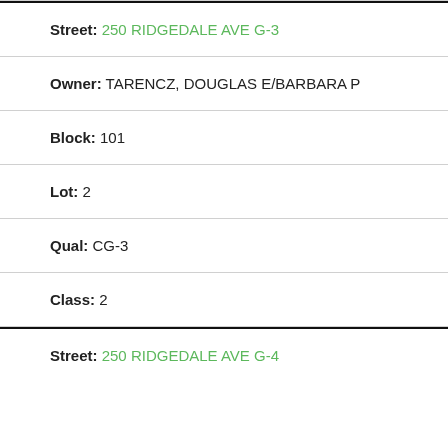Street: 250 RIDGEDALE AVE G-3
Owner: TARENCZ, DOUGLAS E/BARBARA P
Block: 101
Lot: 2
Qual: CG-3
Class: 2
Street: 250 RIDGEDALE AVE G-4